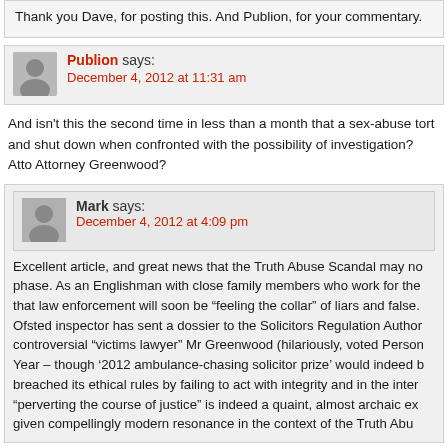Thank you Dave, for posting this. And Publion, for your commentary.
Publion says:
December 4, 2012 at 11:31 am
And isn't this the second time in less than a month that a sex-abuse tort and shut down when confronted with the possibility of investigation? Atto Attorney Greenwood?
Mark says:
December 4, 2012 at 4:09 pm
Excellent article, and great news that the Truth Abuse Scandal may no phase. As an Englishman with close family members who work for the that law enforcement will soon be "feeling the collar" of liars and false. Ofsted inspector has sent a dossier to the Solicitors Regulation Author controversial "victims lawyer" Mr Greenwood (hilariously, voted Person Year – though '2012 ambulance-chasing solicitor prize' would indeed b breached its ethical rules by failing to act with integrity and in the inter "perverting the course of justice" is indeed a quaint, almost archaic ex given compellingly modern resonance in the context of the Truth Abu